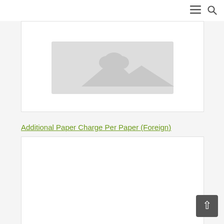Navigation menu and search icons
[Figure (photo): Placeholder product image with grey mountain/landscape silhouette icon on white background]
Additional Paper Charge Per Paper (Foreign)
$10.00
Add to cart
[Figure (photo): Second product placeholder image, partially visible at bottom of page, white background with border]